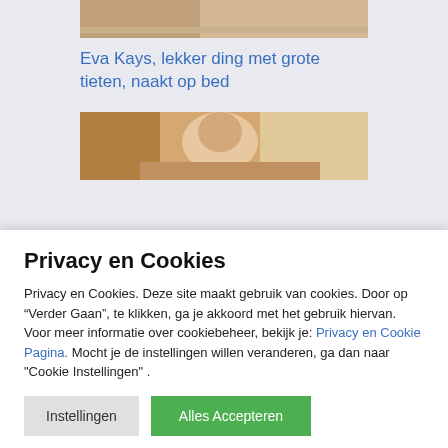[Figure (photo): Partial photo at top, cropped, showing skin tones]
Eva Kays, lekker ding met grote tieten, naakt op bed
[Figure (photo): Photo of a redhead woman in a kitchen setting]
Privacy en Cookies
Privacy en Cookies. Deze site maakt gebruik van cookies. Door op “Verder Gaan”, te klikken, ga je akkoord met het gebruik hiervan. Voor meer informatie over cookiebeheer, bekijk je: Privacy en Cookie Pagina. Mocht je de instellingen willen veranderen, ga dan naar "Cookie Instellingen" .
Instellingen | Alles Accepteren